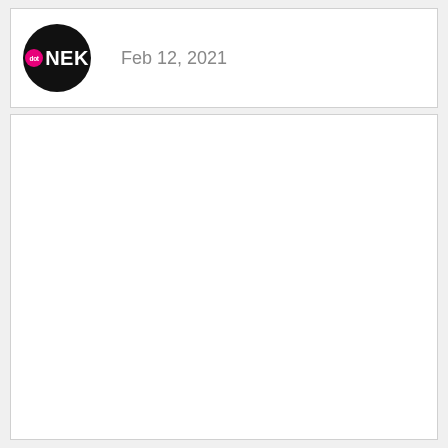dot NEK — Feb 12, 2021
[Figure (other): Empty white card/panel below the header]